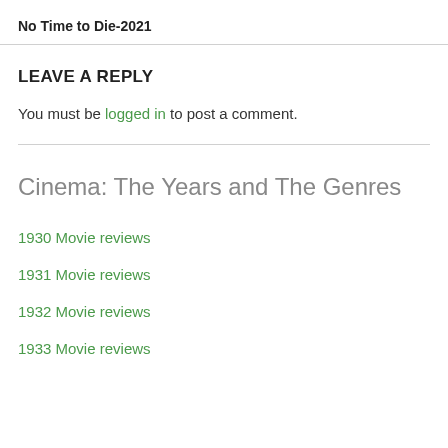No Time to Die-2021
LEAVE A REPLY
You must be logged in to post a comment.
Cinema: The Years and The Genres
1930 Movie reviews
1931 Movie reviews
1932 Movie reviews
1933 Movie reviews